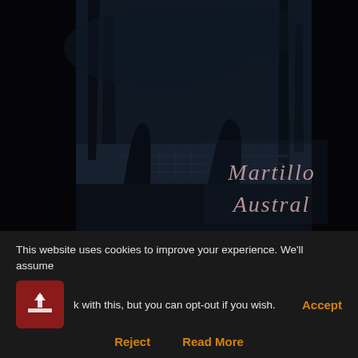[Figure (illustration): Dark album cover image for Martillo Austral, a black metal band. Shows silhouetted figures in a dark, atmospheric scene with gothic logo text reading 'Martillo Austral' in the lower right corner.]
[Figure (other): Social media share bar with Facebook, Twitter, Pinterest, and Email buttons, plus a share icon showing 0 SHARES]
BLACK METAL
MARTILLO AUSTRAL
This website uses cookies to improve your experience. We'll assume
ok with this, but you can opt-out if you wish.
Accept
Reject
Read More